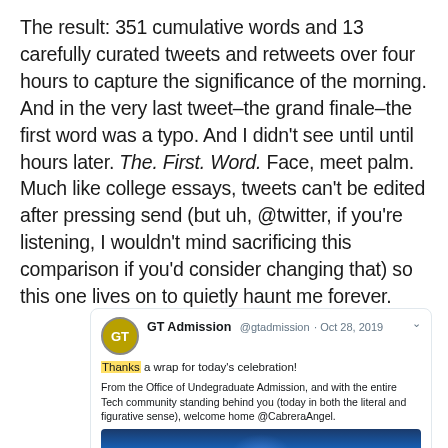The result: 351 cumulative words and 13 carefully curated tweets and retweets over four hours to capture the significance of the morning. And in the very last tweet–the grand finale–the first word was a typo. And I didn't see until until hours later. The. First. Word. Face, meet palm. Much like college essays, tweets can't be edited after pressing send (but uh, @twitter, if you're listening, I wouldn't mind sacrificing this comparison if you'd consider changing that) so this one lives on to quietly haunt me forever.
[Figure (screenshot): A screenshot of a tweet from GT Admission (@gtadmission) dated Oct 28, 2019. The tweet reads: 'Thanks a wrap for today's celebration! From the Office of Undegraduate Admission, and with the entire Tech community standing behind you (today in both the literal and figurative sense), welcome home @CabreraAngel.' The tweet includes a photo of an auditorium with blue lighting and a crowd.]